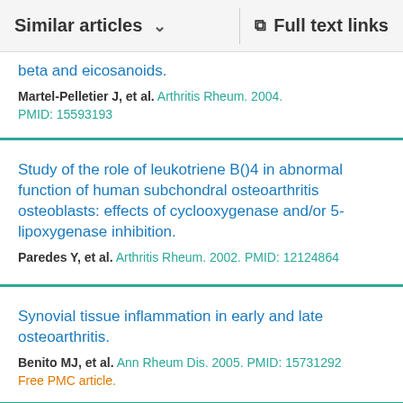Similar articles   Full text links
beta and eicosanoids.
Martel-Pelletier J, et al. Arthritis Rheum. 2004.
PMID: 15593193
Study of the role of leukotriene B()4 in abnormal function of human subchondral osteoarthritis osteoblasts: effects of cyclooxygenase and/or 5-lipoxygenase inhibition.
Paredes Y, et al. Arthritis Rheum. 2002. PMID: 12124864
Synovial tissue inflammation in early and late osteoarthritis.
Benito MJ, et al. Ann Rheum Dis. 2005. PMID: 15731292
Free PMC article.